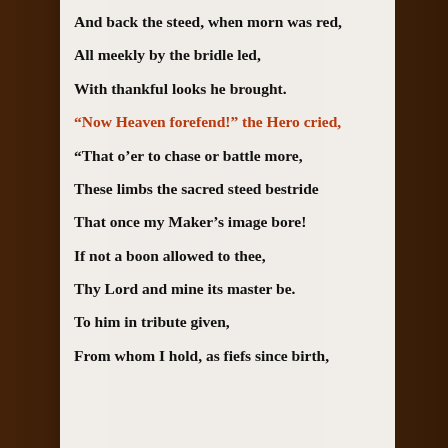And back the steed, when morn was red,
All meekly by the bridle led,
With thankful looks he brought.
“Now Heaven forefend!” the Hero cried,
“That o’er to chase or battle more,
These limbs the sacred steed bestride
That once my Maker’s image bore!
If not a boon allowed to thee,
Thy Lord and mine its master be.
To him in tribute given,
From whom I hold, as fiefs since birth,